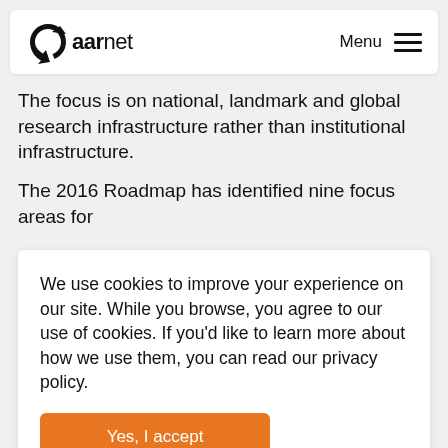aarnet  Menu
The focus is on national, landmark and global research infrastructure rather than institutional infrastructure.
The 2016 Roadmap has identified nine focus areas for
We use cookies to improve your experience on our site. While you browse, you agree to our use of cookies. If you'd like to learn more about how we use them, you can read our privacy policy.
Yes, I accept